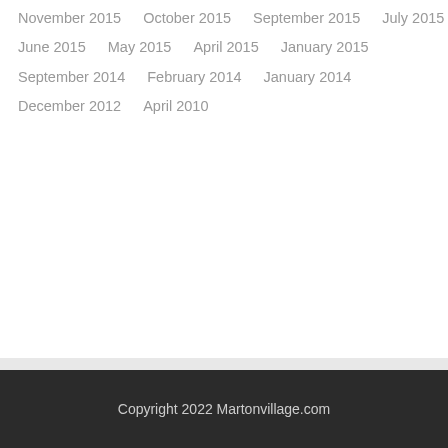November 2015
October 2015
September 2015
July 2015
June 2015
May 2015
April 2015
January 2015
September 2014
February 2014
January 2014
December 2012
April 2010
Copyright 2022 Martonvillage.com